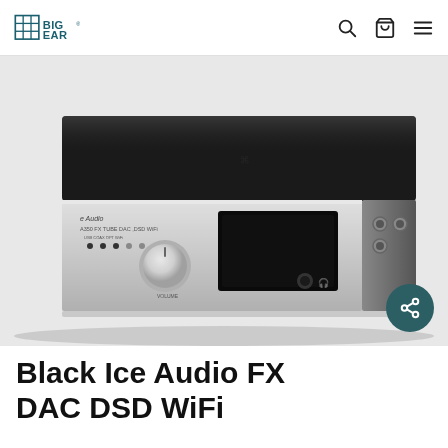BIG EAR (logo) — navigation icons: search, cart, menu
[Figure (photo): Product photo of a Black Ice Audio FX DAC DSD WiFi unit — a silver and black desktop audio device with a volume knob on the left, a display window in the center, and connections on the right side. The top panel is glossy black.]
Black Ice Audio FX DAC DSD WiFi